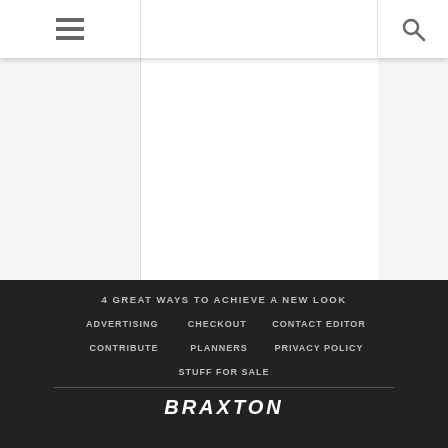[Figure (screenshot): White content area below header]
4 GREAT WAYS TO ACHIEVE A NEW LOOK
ADVERTISING
CHECKOUT
CONTACT EDITOR
CONTRIBUTE
PLANNERS
PRIVACY POLICY
STUFF FOR SALE
BRAXTON